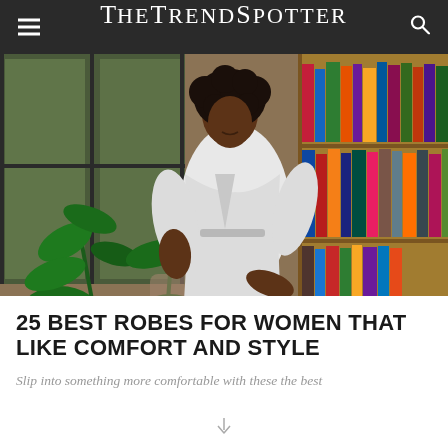TheTrendSpotter
[Figure (photo): A woman wearing a white waffle-knit robe sitting in a chair in a room with large windows, green plants, and a wooden bookshelf filled with books in the background.]
25 BEST ROBES FOR WOMEN THAT LIKE COMFORT AND STYLE
Slip into something more comfortable with these the best